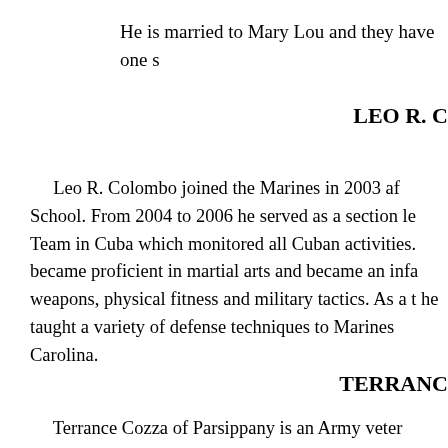He is married to Mary Lou and they have one s
LEO R. C
Leo R. Colombo joined the Marines in 2003 af School. From 2004 to 2006 he served as a section le Team in Cuba which monitored all Cuban activities. became proficient in martial arts and became an infa weapons, physical fitness and military tactics. As a he taught a variety of defense techniques to Marines Carolina.
TERRANC
Terrance Cozza of Parsippany is an Army veter